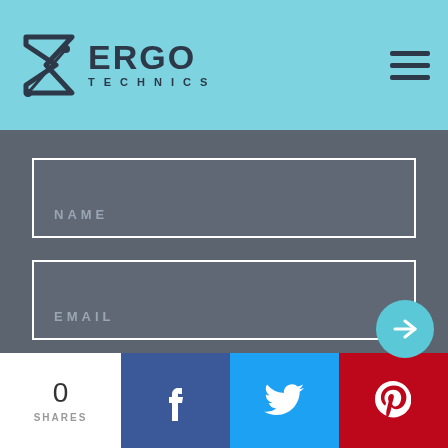ERGO TECHNICS
NAME
EMAIL
SUBMIT
0
SHARES